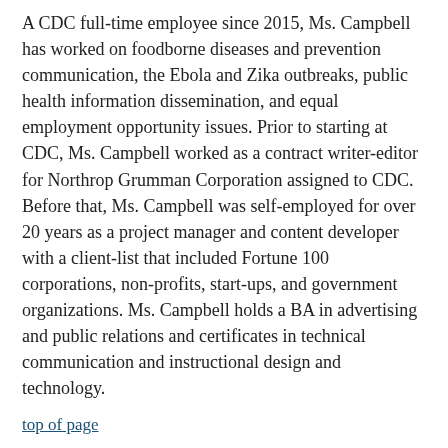A CDC full-time employee since 2015, Ms. Campbell has worked on foodborne diseases and prevention communication, the Ebola and Zika outbreaks, public health information dissemination, and equal employment opportunity issues. Prior to starting at CDC, Ms. Campbell worked as a contract writer-editor for Northrop Grumman Corporation assigned to CDC. Before that, Ms. Campbell was self-employed for over 20 years as a project manager and content developer with a client-list that included Fortune 100 corporations, non-profits, start-ups, and government organizations. Ms. Campbell holds a BA in advertising and public relations and certificates in technical communication and instructional design and technology.
top of page
Sajal K. Chattopadhyay, PhD
Dr. Chattopadhyay is the principal economic advisor for the Community Guide Office. He directs the Community Guide's economic reviews. He previously served as a senior